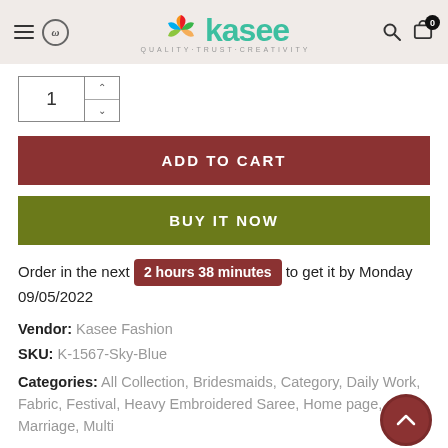Kasee — QUALITY·TRUST·CREATIVITY
1 (quantity input)
ADD TO CART
BUY IT NOW
Order in the next 2 hours 38 minutes to get it by Monday 09/05/2022
Vendor: Kasee Fashion
SKU: K-1567-Sky-Blue
Categories: All Collection, Bridesmaids, Category, Daily Work, Fabric, Festival, Heavy Embroidered Saree, Home page, Marriage, Multi